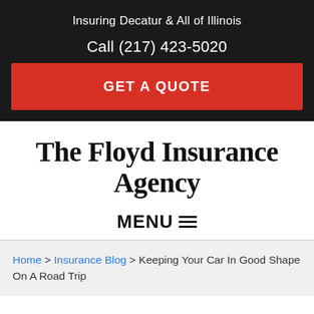Insuring Decatur & All of Illinois
Call (217) 423-5020
GET A QUOTE
The Floyd Insurance Agency
MENU
Home > Insurance Blog > Keeping Your Car In Good Shape On A Road Trip